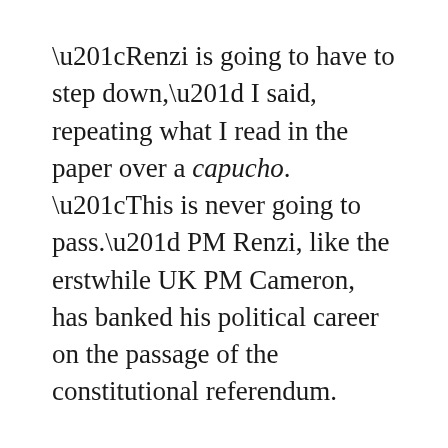“Renzi is going to have to step down,” I said, repeating what I read in the paper over a capucho. “This is never going to pass.” PM Renzi, like the erstwhile UK PM Cameron, has banked his political career on the passage of the constitutional referendum.
“Magari! I hope so! Ma che!” she exclaimed.
I stayed quiet about the unreliability of polls and the filter bubble, and held my tongue when tempted to caution her